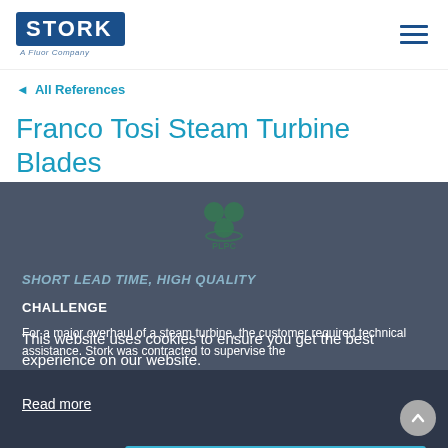[Figure (logo): Stork A Fluor Company logo in the top left, dark blue rectangle with white STORK text]
◄ All References
Franco Tosi Steam Turbine Blades
[Figure (photo): Dark overlay image with PLPC logo watermark, showing steam turbine context]
SHORT LEAD TIME, HIGH QUALITY
CHALLENGE
For a major overhaul of a steam turbine, the customer required technical assistance. Stork was contracted to supervise the
This website uses cookies to ensure you get the best experience on our website.
Read more
Decline
Accept